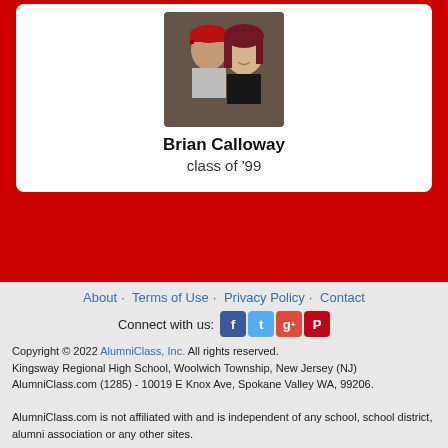[Figure (photo): Profile photo of Brian Calloway — two people posing together, one wearing a red cap]
Brian Calloway
class of '99
About · Terms of Use · Privacy Policy · Contact
Connect with us: [Facebook] [Twitter] [Google+] [Pinterest]
Copyright © 2022 AlumniClass, Inc. All rights reserved.
Kingsway Regional High School, Woolwich Township, New Jersey (NJ)
AlumniClass.com (1285) - 10019 E Knox Ave, Spokane Valley WA, 99206.
AlumniClass.com is not affiliated with and is independent of any school, school district, alumni association or any other sites.